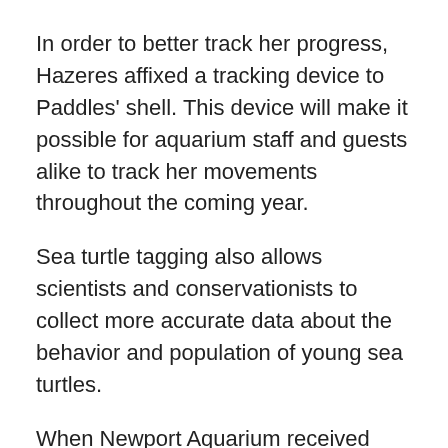In order to better track her progress, Hazeres affixed a tracking device to Paddles' shell. This device will make it possible for aquarium staff and guests alike to track her movements throughout the coming year.
Sea turtle tagging also allows scientists and conservationists to collect more accurate data about the behavior and population of young sea turtles.
When Newport Aquarium received Paddles in November 2014, she was about the size of a deck of cards and weighed less than one pound.
After spending a year at Newport Aquarium learning to swim, find her own food and coexist with other marine life, nine-pound Paddles will be released back into the Atlantic Ocean on Wednesday.